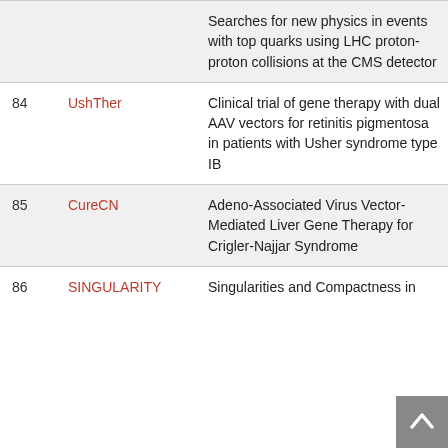| # | Project | Description |
| --- | --- | --- |
|  |  | Searches for new physics in events with top quarks using LHC proton-proton collisions at the CMS detector |
| 84 | UshTher | Clinical trial of gene therapy with dual AAV vectors for retinitis pigmentosa in patients with Usher syndrome type IB |
| 85 | CureCN | Adeno-Associated Virus Vector-Mediated Liver Gene Therapy for Crigler-Najjar Syndrome |
| 86 | SINGULARITY | Singularities and Compactness in… |